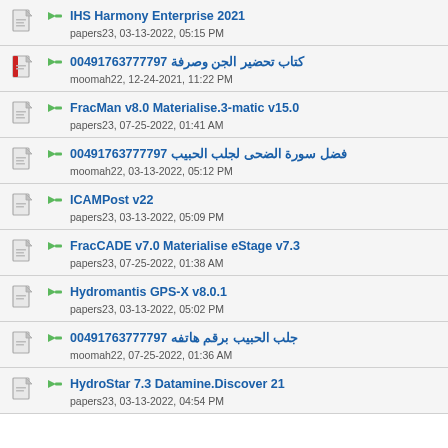IHS Harmony Enterprise 2021
papers23, 03-13-2022, 05:15 PM
كتاب تحضير الجن وصرفة 00491763777797
moomah22, 12-24-2021, 11:22 PM
FracMan v8.0 Materialise.3-matic v15.0
papers23, 07-25-2022, 01:41 AM
فضل سورة الضحى لجلب الحبيب 00491763777797
moomah22, 03-13-2022, 05:12 PM
ICAMPost v22
papers23, 03-13-2022, 05:09 PM
FracCADE v7.0 Materialise eStage v7.3
papers23, 07-25-2022, 01:38 AM
Hydromantis GPS-X v8.0.1
papers23, 03-13-2022, 05:02 PM
جلب الحبيب برقم هاتفه 00491763777797
moomah22, 07-25-2022, 01:36 AM
HydroStar 7.3 Datamine.Discover 21
papers23, 03-13-2022, 04:54 PM